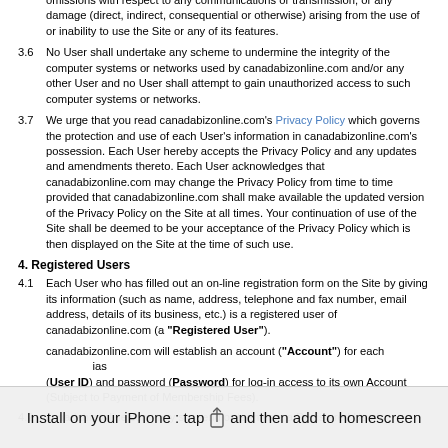inability to use the Site (whether due to disruption, limited access, changes to or termination of any features on the Site or otherwise), any delays, errors or omissions with respect to any communications or transmission, or any damage (direct, indirect, consequential or otherwise) arising from the use of or inability to use the Site or any of its features.
3.6 No User shall undertake any scheme to undermine the integrity of the computer systems or networks used by canadabizonline.com and/or any other User and no User shall attempt to gain unauthorized access to such computer systems or networks.
3.7 We urge that you read canadabizonline.com's Privacy Policy which governs the protection and use of each User's information in canadabizonline.com's possession. Each User hereby accepts the Privacy Policy and any updates and amendments thereto. Each User acknowledges that canadabizonline.com may change the Privacy Policy from time to time provided that canadabizonline.com shall make available the updated version of the Privacy Policy on the Site at all times. Your continuation of use of the Site shall be deemed to be your acceptance of the Privacy Policy which is then displayed on the Site at the time of such use.
4. Registered Users
4.1 Each User who has filled out an on-line registration form on the Site by giving its information (such as name, address, telephone and fax number, email address, details of its business, etc.) is a registered user of canadabizonline.com (a "Registered User").
canadabizonline.com will establish an account ("Account") for each ... ("User ID") and password ("Password") for log-in access to its own Account (Subject to Payment of Membership Fees).
4.2 canadabizonline.com may suspend or terminate a Registered User's